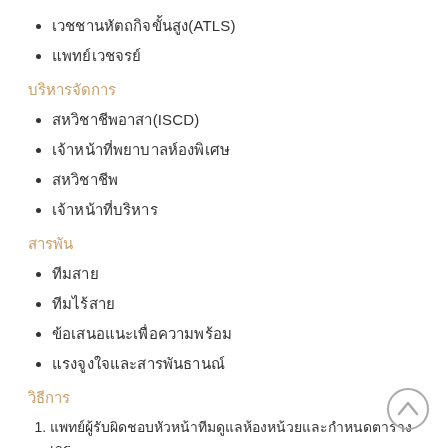□□□□□□□□□□(ATLS)
□□□□□□□□□
□□□□□□□□□
□□□□□□□□□□(ISCD)
□□□□□□□□□□□□□□□□□□□
□□□□□□□□□
□□□□□□□□□□□□□
□□□□
□□□□□□
□□□□□□
□□□□□□□□□□□□□□□□□
□□□□□□□□□□□□□□□□□
□□□
□□□□□□□□□□□□□□□□□□□□□□□□□□□□□□□□□□□□□□□□□□□□□□□□□□□□□□□□□□□